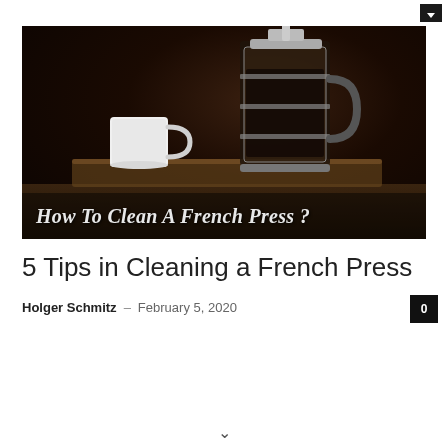[Figure (photo): A French press coffee maker on a wooden surface next to a white mug, against a dark background, with overlay text 'How To Clean A French Press ?']
5 Tips in Cleaning a French Press
Holger Schmitz – February 5, 2020